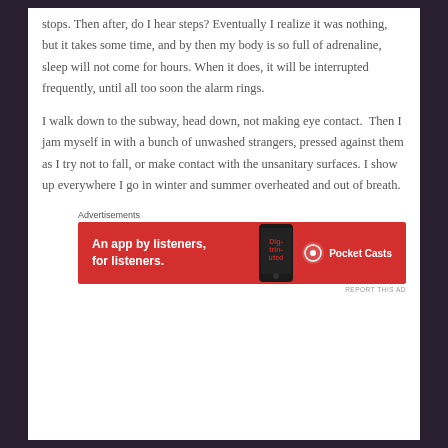stops. Then after, do I hear steps? Eventually I realize it was nothing, but it takes some time, and by then my body is so full of adrenaline, sleep will not come for hours. When it does, it will be interrupted frequently, until all too soon the alarm rings.
I walk down to the subway, head down, not making eye contact. Then I jam myself in with a bunch of unwashed strangers, pressed against them as I try not to fall, or make contact with the unsanitary surfaces. I show up everywhere I go in winter and summer overheated and out of breath.
Advertisements
[Figure (other): Pocket Casts advertisement banner with red background. Text reads: An app by listeners, for listeners. Pocket Casts logo on right. Phone image in center.]
REPORT THIS AD